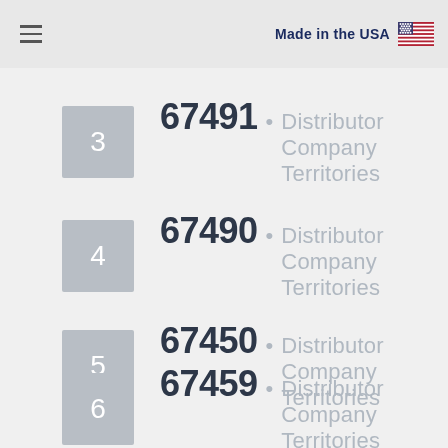Made in the USA
3  67491 • Distributor Company Territories
4  67490 • Distributor Company Territories
5  67450 • Distributor Company Territories
6  67459 • Distributor Company Territories